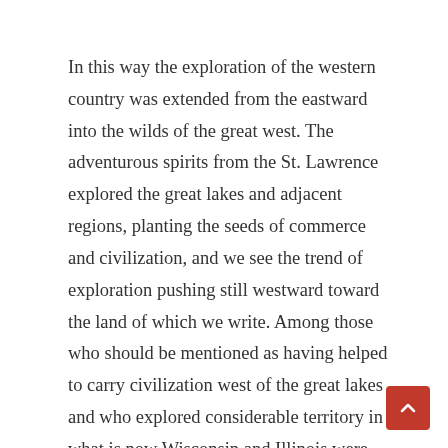In this way the exploration of the western country was extended from the eastward into the wilds of the great west. The adventurous spirits from the St. Lawrence explored the great lakes and adjacent regions, planting the seeds of commerce and civilization, and we see the trend of exploration pushing still westward toward the land of which we write. Among those who should be mentioned as having helped to carry civilization west of the great lakes and who explored considerable territory in what is now Wisconsin and Illinois were Father Rene Menard, Father Claude Allouez and Father Jaquez Marquette. It seems that in the year 1660 the superior o